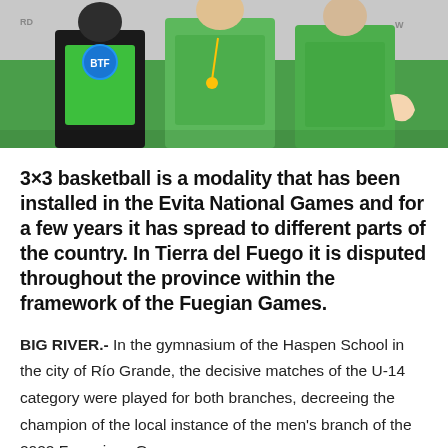[Figure (photo): Three people wearing bright green jerseys/bibs, one with a BTF logo circle badge. They appear to be athletes or participants at a sporting event. Background shows what appears to be a sports venue.]
3×3 basketball is a modality that has been installed in the Evita National Games and for a few years it has spread to different parts of the country. In Tierra del Fuego it is disputed throughout the province within the framework of the Fuegian Games.
BIG RIVER.- In the gymnasium of the Haspen School in the city of Río Grande, the decisive matches of the U-14 category were played for both branches, decreeing the champion of the local instance of the men's branch of the 2022 Fueguinos Games.